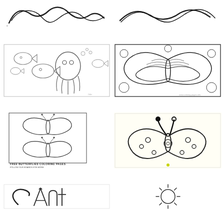[Figure (illustration): Cursive script decorative lettering coloring page (top left)]
[Figure (illustration): Cursive script decorative lettering coloring page (top right)]
[Figure (illustration): Underwater scene coloring page with fish, octopus, and sea creatures]
[Figure (illustration): Butterfly with flowers detailed mandala-style coloring page]
[Figure (illustration): Two butterflies outline coloring page with 'Free Butterflies Coloring Pages' text and Pinterest link]
[Figure (illustration): Cartoon butterfly outline coloring page on light yellow background]
[Figure (illustration): Ant lettering coloring page with decorative capital A]
[Figure (illustration): Circular starburst/sun outline coloring page]